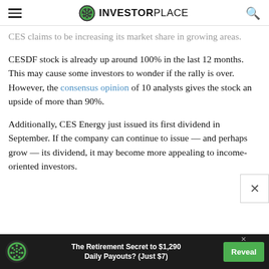INVESTORPLACE
CES claims to be increasing its market share in growing areas.
CESDF stock is already up around 100% in the last 12 months. This may cause some investors to wonder if the rally is over. However, the consensus opinion of 10 analysts gives the stock an upside of more than 90%.
Additionally, CES Energy just issued its first dividend in September. If the company can continue to issue — and perhaps grow — its dividend, it may become more appealing to income-oriented investors.
[Figure (infographic): Advertisement banner: The Retirement Secret to $1,290 Daily Payouts? (Just $7) with a Reveal button]